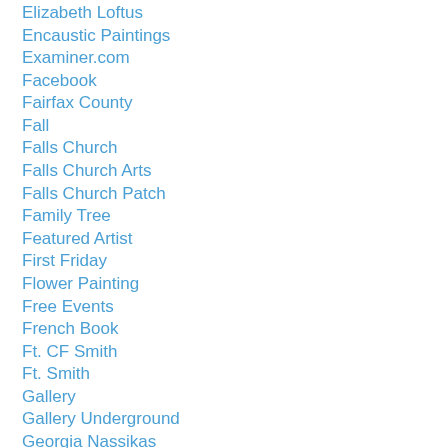Elizabeth Loftus
Encaustic Paintings
Examiner.com
Facebook
Fairfax County
Fall
Falls Church
Falls Church Arts
Falls Church Patch
Family Tree
Featured Artist
First Friday
Flower Painting
Free Events
French Book
Ft. CF Smith
Ft. Smith
Gallery
Gallery Underground
Georgia Nassikas
Gift